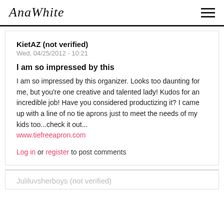AnaWhite
KietAZ (not verified)
Wed, 04/25/2012 - 10:21
I am so impressed by this
I am so impressed by this organizer. Looks too daunting for me, but you're one creative and talented lady! Kudos for an incredible job! Have you considered productizing it? I came up with a line of no tie aprons just to meet the needs of my kids too...check it out... www.tiefreeapron.com
Log in or register to post comments
Juliluvsherboys (not verified)